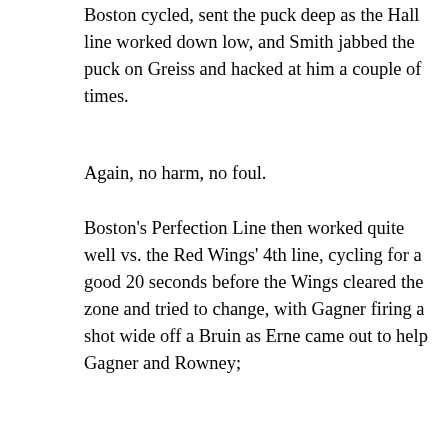Boston cycled, sent the puck deep as the Hall line worked down low, and Smith jabbed the puck on Greiss and hacked at him a couple of times.
Again, no harm, no foul.
Boston's Perfection Line then worked quite well vs. the Red Wings' 4th line, cycling for a good 20 seconds before the Wings cleared the zone and tried to change, with Gagner firing a shot wide off a Bruin as Erne came out to help Gagner and Rowney;
Erne raced in but missed the net 1-on-1;
Oesterle was not helping Seider very much, but he was steadier than DeKeyser.
Erne and Namestnikov nearly smeared a Bruin in the corner, but Namestnikov lost his helmet, did not